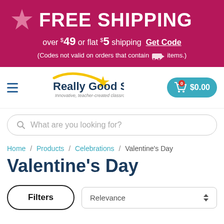[Figure (infographic): Promotional banner: pink star icon, FREE SHIPPING text, over $49 or flat $5 shipping, Get Code link, note about codes not valid on freight items]
[Figure (logo): Really Good Stuff logo with yellow shooting star, tagline: Innovative, teacher-created classroom solutions]
$0.00 cart button
What are you looking for? search bar
Home / Products / Celebrations / Valentine's Day breadcrumb
Valentine's Day
Filters button and Relevance sort dropdown